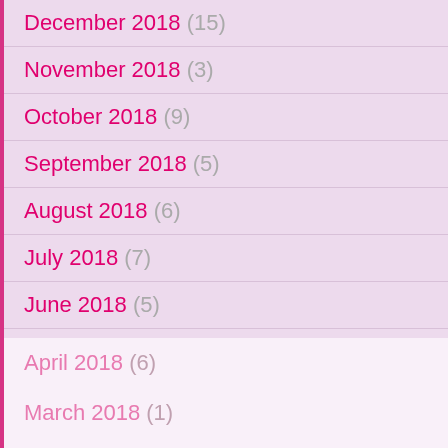December 2018 (15)
November 2018 (3)
October 2018 (9)
September 2018 (5)
August 2018 (6)
July 2018 (7)
June 2018 (5)
May 2018 (6)
April 2018 (6)
March 2018 (1)